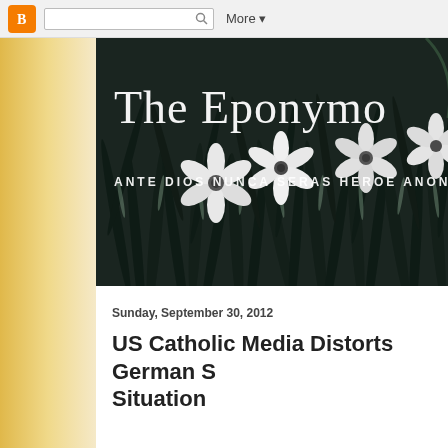Blogger navigation bar with search box and More button
[Figure (photo): Black and white hero banner image showing daffodil flowers against dark spiky foliage background, with blog title 'The Eponymo...' in large white serif font and subtitle 'ANTE DIOS NUNCA SERAS HEROE ANONIMO' in white uppercase letters]
The Eponymo
ANTE DIOS NUNCA SERAS HEROE ANONIMO
Sunday, September 30, 2012
US Catholic Media Distorts German S... Situation